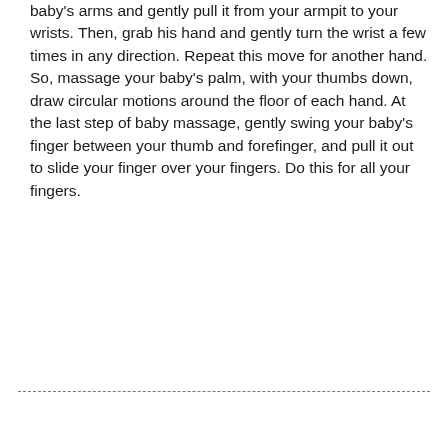baby's arms and gently pull it from your armpit to your wrists. Then, grab his hand and gently turn the wrist a few times in any direction. Repeat this move for another hand. So, massage your baby's palm, with your thumbs down, draw circular motions around the floor of each hand. At the last step of baby massage, gently swing your baby's finger between your thumb and forefinger, and pull it out to slide your finger over your fingers. Do this for all your fingers.